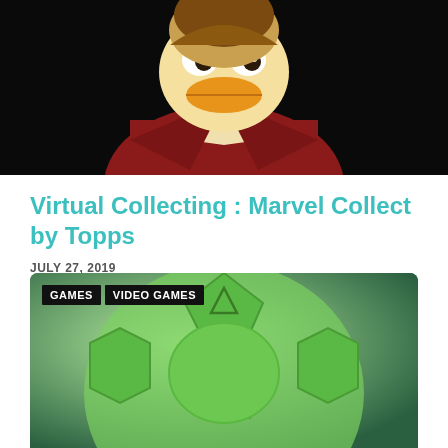[Figure (illustration): Comic-style illustration of a duck character wearing a red business suit, close-up on face and upper body against a black background]
Virtual Collecting : Marvel Collect by Topps
JULY 27, 2019
What the heck is a virtual trading card? And why do you care?
[Figure (photo): Close-up photo of a green PlayStation controller button pad on a dark green background, with GAMES and VIDEO GAMES category tags overlaid]